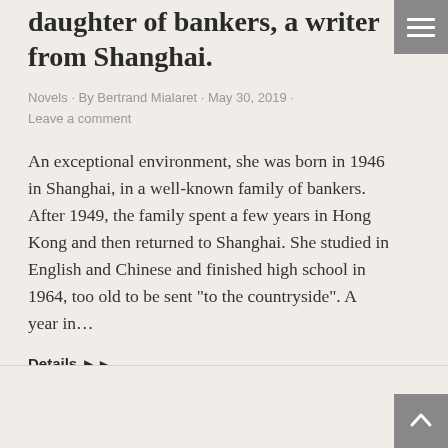daughter of bankers, a writer from Shanghai.
Novels · By Bertrand Mialaret · May 30, 2019 · Leave a comment
An exceptional environment, she was born in 1946 in Shanghai, in a well-known family of bankers. After 1949, the family spent a few years in Hong Kong and then returned to Shanghai. She studied in English and Chinese and finished high school in 1964, too old to be sent “to the countryside”. A year in…
Details ▶